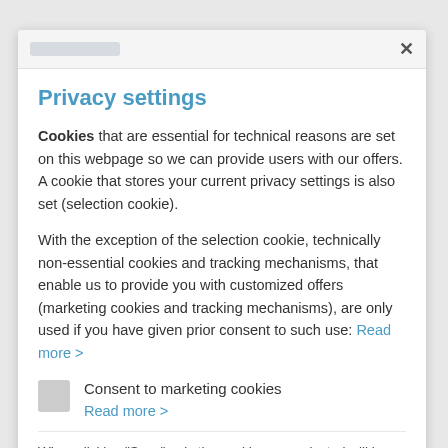Privacy settings
Cookies that are essential for technical reasons are set on this webpage so we can provide users with our offers. A cookie that stores your current privacy settings is also set (selection cookie).
With the exception of the selection cookie, technically non-essential cookies and tracking mechanisms, that enable us to provide you with customized offers (marketing cookies and tracking mechanisms), are only used if you have given prior consent to such use: Read more >
Consent to marketing cookies
Read more >
When clicking "Save" only the cookies you selected will be used